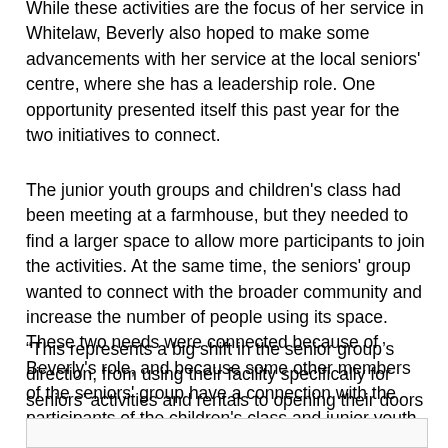While these activities are the focus of her service in Whitelaw, Beverly also hoped to make some advancements with her service at the local seniors' centre, where she has a leadership role. One opportunity presented itself this past year for the two initiatives to connect.
The junior youth groups and children's class had been meeting at a farmhouse, but they needed to find a larger space to allow more participants to join the activities. At the same time, the seniors' group wanted to connect with the broader community and increase the number of people using its space. These two needs were connected because of Beverly's role, and because some other members of the seniors' group have a connection with the participants of the children's class and junior youth group. Beginning in September, the community-building activities began to take place at the seniors' centre.
“This represents a big shift in the senior group’s direction, from using their facility specifically for seniors’ activities and rentals to opening their doors for the purpose of community-building,” explains Beverly.